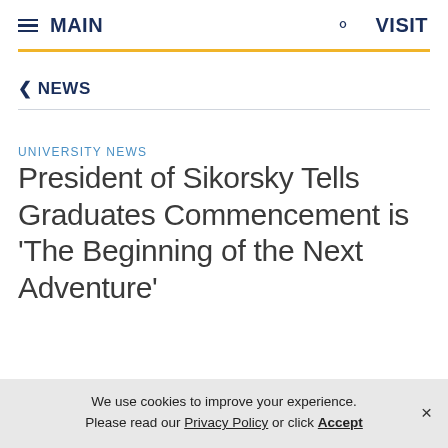≡ MAIN   🔍   VISIT
< NEWS
UNIVERSITY NEWS
President of Sikorsky Tells Graduates Commencement is 'The Beginning of the Next Adventure'
We use cookies to improve your experience. Please read our Privacy Policy or click Accept